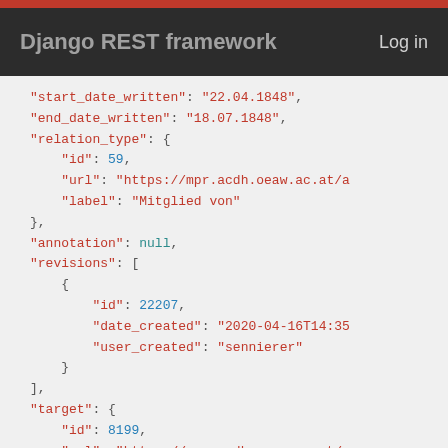Django REST framework   Log in
"start_date_written": "22.04.1848",
"end_date_written": "18.07.1848",
"relation_type": {
    "id": 59,
    "url": "https://mpr.acdh.oeaw.ac.at/a
    "label": "Mitglied von"
},
"annotation": null,
"revisions": [
    {
        "id": 22207,
        "date_created": "2020-04-16T14:35
        "user_created": "sennierer"
    }
],
"target": {
    "id": 8199,
    "url": "https://mpr.acdh.oeaw.ac.at/e
    "name": "Regierung Doblhoff",
    "start_date": null,
    "end_date": null,
    "uris": [
        {